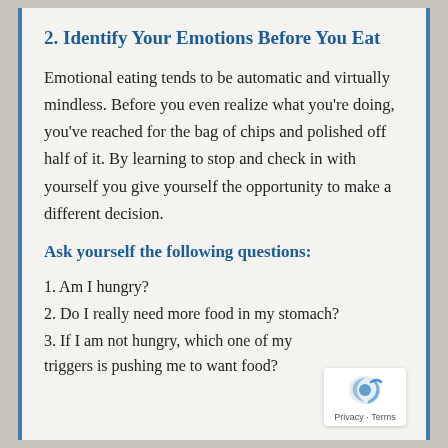2. Identify Your Emotions Before You Eat
Emotional eating tends to be automatic and virtually mindless. Before you even realize what you're doing, you've reached for the bag of chips and polished off half of it. By learning to stop and check in with yourself you give yourself the opportunity to make a different decision.
Ask yourself the following questions:
1. Am I hungry?
2. Do I really need more food in my stomach?
3. If I am not hungry, which one of my triggers is pushing me to want food?